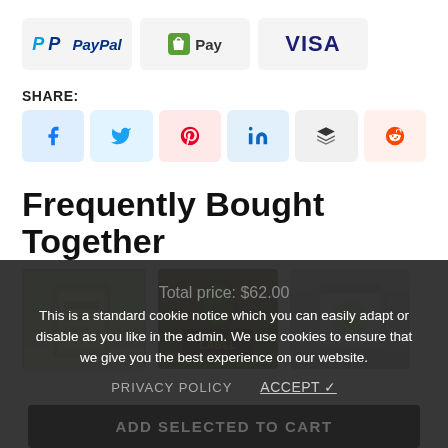[Figure (other): Payment method icons: PayPal, Shopify Pay, VISA]
SHARE:
[Figure (other): Social share buttons: Facebook, Twitter, Pinterest, LinkedIn, Buffer, Reddit]
Frequently Bought Together
[Figure (other): Three product images shown side by side for frequently bought together section]
Total price: $62.00
ADD SELECTED TO CART
This is a standard cookie notice which you can easily adapt or disable as you like in the admin. We use cookies to ensure that we give you the best experience on our website.
PRIVACY POLICY
ACCEPT ✓